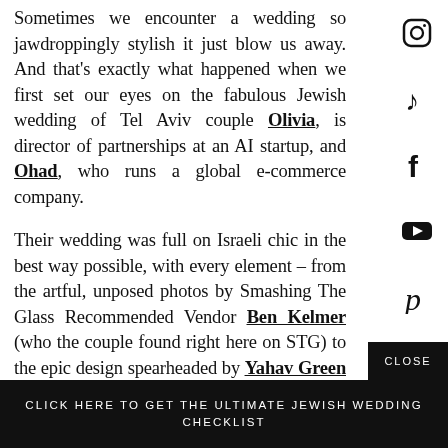Sometimes we encounter a wedding so jawdroppingly stylish it just blow us away. And that's exactly what happened when we first set our eyes on the fabulous Jewish wedding of Tel Aviv couple Olivia, is director of partnerships at an AI startup, and Ohad, who runs a global e-commerce company.
Their wedding was full on Israeli chic in the best way possible, with every element – from the artful, unposed photos by Smashing The Glass Recommended Vendor Ben Kelmer (who the couple found right here on STG) to the epic design spearheaded by Yahav Green and beyond.
Olivia's an American who made aliyah a few years back, and since many of the couple's guests were visiting Israel for their first time, the pair wanted to pull out
CLICK HERE TO GET THE ULTIMATE JEWISH WEDDING CHECKLIST